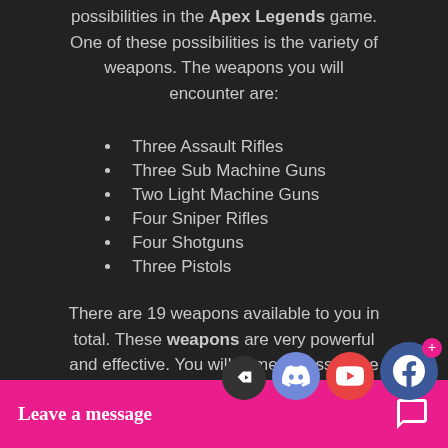possibilities in the Apex Legends game. One of these possibilities is the variety of weapons. The weapons you will encounter are:
Three Assault Rifles
Three Sub Machine Guns
Two Light Machine Guns
Four Sniper Rifles
Four Shotguns
Three Pistols
There are 19 weapons available to you in total. These weapons are very powerful and effective. You will come across these weapons while navigating the game map. Collecting weapons and equipment will provide opportunities for you. So when you shoot with these w...nies? Here we ...on with apex
[Figure (other): Social media icons for Facebook, YouTube, Discord, and a reply button floating above the bottom bar]
Leave a message